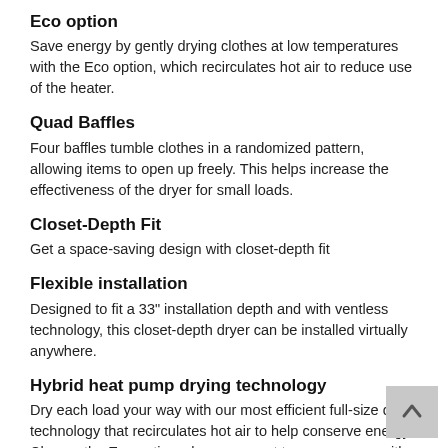Eco option
Save energy by gently drying clothes at low temperatures with the Eco option, which recirculates hot air to reduce use of the heater.
Quad Baffles
Four baffles tumble clothes in a randomized pattern, allowing items to open up freely. This helps increase the effectiveness of the dryer for small loads.
Closet-Depth Fit
Get a space-saving design with closet-depth fit
Flexible installation
Designed to fit a 33" installation depth and with ventless technology, this closet-depth dryer can be installed virtually anywhere.
Hybrid heat pump drying technology
Dry each load your way with our most efficient full-size dryer technology that recirculates hot air to help conserve energy. Choose the Eco option when you want to save energy with gentle drying at lower